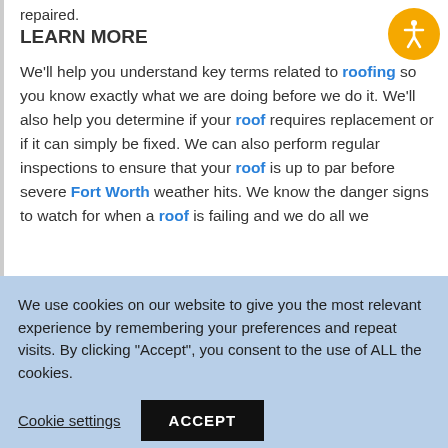repaired.
LEARN MORE
We'll help you understand key terms related to roofing so you know exactly what we are doing before we do it. We'll also help you determine if your roof requires replacement or if it can simply be fixed. We can also perform regular inspections to ensure that your roof is up to par before severe Fort Worth weather hits. We know the danger signs to watch for when a roof is failing and we do all we
We use cookies on our website to give you the most relevant experience by remembering your preferences and repeat visits. By clicking “Accept”, you consent to the use of ALL the cookies.
Cookie settings
ACCEPT